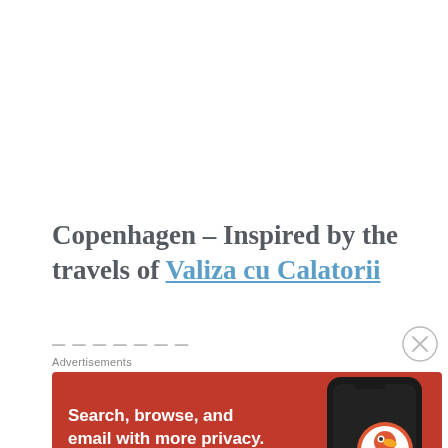Copenhagen – Inspired by the travels of Valiza cu Calatorii
Advertisement label and partial heading visible
Advertisements
[Figure (other): DuckDuckGo advertisement banner with orange/red background. Text reads: 'Search, browse, and email with more privacy. All in One Free App'. Shows a smartphone with DuckDuckGo logo and app icon.]